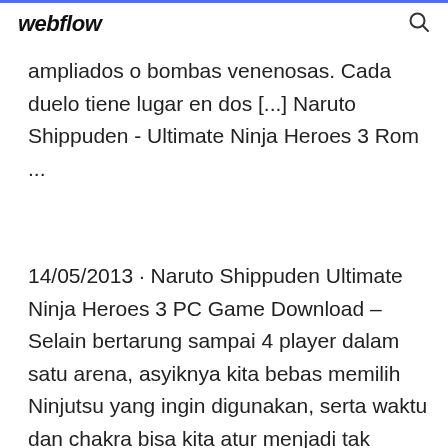webflow
ampliados o bombas venenosas. Cada duelo tiene lugar en dos [...] Naruto Shippuden - Ultimate Ninja Heroes 3 Rom ...
14/05/2013 · Naruto Shippuden Ultimate Ninja Heroes 3 PC Game Download – Selain bertarung sampai 4 player dalam satu arena, asyiknya kita bebas memilih Ninjutsu yang ingin digunakan, serta waktu dan chakra bisa kita atur menjadi tak terbatas, seperti pada game Naruto Shippuden Ultimate Ninja 5.Karakter